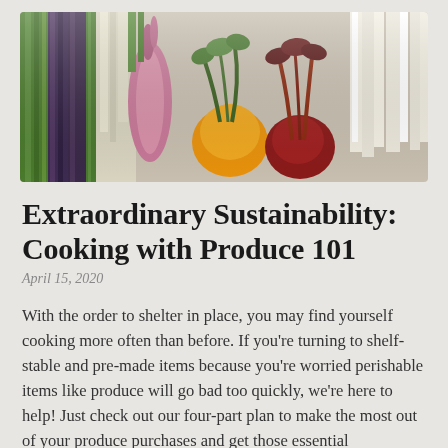[Figure (photo): An overhead arrangement of colorful fresh vegetables including purple carrots, asparagus, shallots, golden beets, red beets with greens, and white vegetables laid side by side on a white background.]
Extraordinary Sustainability: Cooking with Produce 101
April 15, 2020
With the order to shelter in place, you may find yourself cooking more often than before. If you're turning to shelf-stable and pre-made items because you're worried perishable items like produce will go bad too quickly, we're here to help! Just check out our four-part plan to make the most out of your produce purchases and get those essential nutrients into your daily diet...